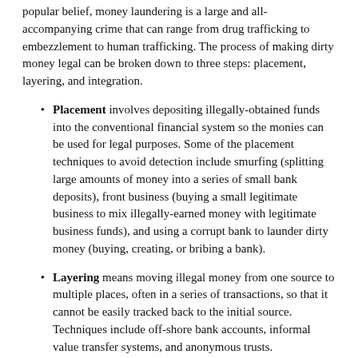popular belief, money laundering is a large and all-accompanying crime that can range from drug trafficking to embezzlement to human trafficking. The process of making dirty money legal can be broken down to three steps: placement, layering, and integration.
Placement involves depositing illegally-obtained funds into the conventional financial system so the monies can be used for legal purposes. Some of the placement techniques to avoid detection include smurfing (splitting large amounts of money into a series of small bank deposits), front business (buying a small legitimate business to mix illegally-earned money with legitimate business funds), and using a corrupt bank to launder dirty money (buying, creating, or bribing a bank).
Layering means moving illegal money from one source to multiple places, often in a series of transactions, so that it cannot be easily tracked back to the initial source. Techniques include off-shore bank accounts, informal value transfer systems, and anonymous trusts.